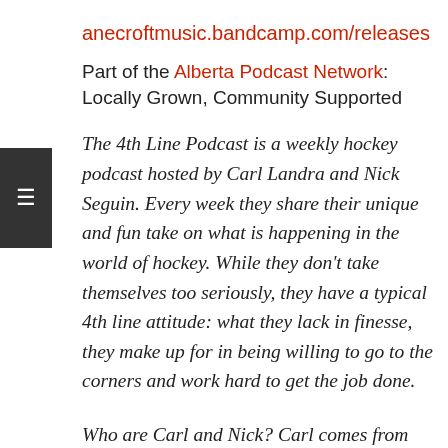anecroftmusic.bandcamp.com/releases
Part of the Alberta Podcast Network: Locally Grown, Community Supported
The 4th Line Podcast is a weekly hockey podcast hosted by Carl Landra and Nick Seguin. Every week they share their unique and fun take on what is happening in the world of hockey. While they don't take themselves too seriously, they have a typical 4th line attitude: what they lack in finesse, they make up for in being willing to go to the corners and work hard to get the job done.
Who are Carl and Nick? Carl comes from Calgary, AB. His facial hair of choice is a mustache. His team of choice is the Colorado Avalanche and his smoked meat of choice is brisket.  Nick comes from Toronto, ON. His facial hair of